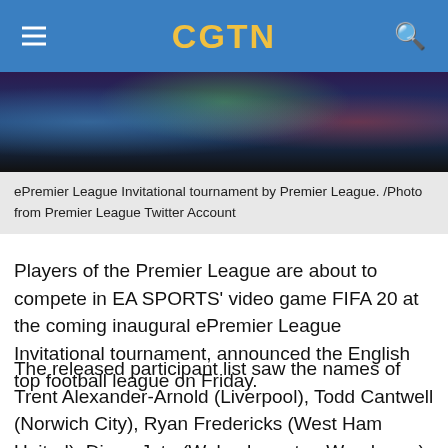CGTN
[Figure (photo): ePremier League Invitational tournament promotional image showing football players in various team kits against a dark background]
ePremier League Invitational tournament by Premier League. /Photo from Premier League Twitter Account
Players of the Premier League are about to compete in EA SPORTS' video game FIFA 20 at the coming inaugural ePremier League Invitational tournament, announced the English top football league on Friday.
The released participant list saw the names of Trent Alexander-Arnold (Liverpool), Todd Cantwell (Norwich City), Ryan Fredericks (West Ham United), Diogo Jota (Wolverhampton Wanderers), Raheem Sterling (Manchester City) and Wilfried Zaha